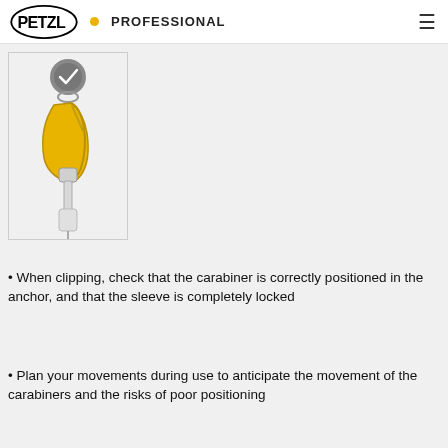PETZL • PROFESSIONAL
[Figure (illustration): Illustration of a yellow Petzl carabiner clipped into a bolt anchor, with a lanyard/connector below. A gray circular icon with a checkmark is shown at the top of the image.]
When clipping, check that the carabiner is correctly positioned in the anchor, and that the sleeve is completely locked
Plan your movements during use to anticipate the movement of the carabiners and the risks of poor positioning